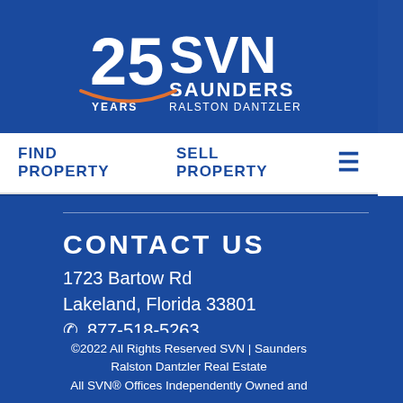[Figure (logo): SVN Saunders Ralston Dantzler 25 Years logo — white text on dark blue background]
FIND PROPERTY   SELL PROPERTY
CONTACT US
1723 Bartow Rd
Lakeland, Florida 33801
✆ 877-518-5263
✉ info@svnsaunders.com
©2022 All Rights Reserved SVN | Saunders Ralston Dantzler Real Estate
All SVN® Offices Independently Owned and Operated